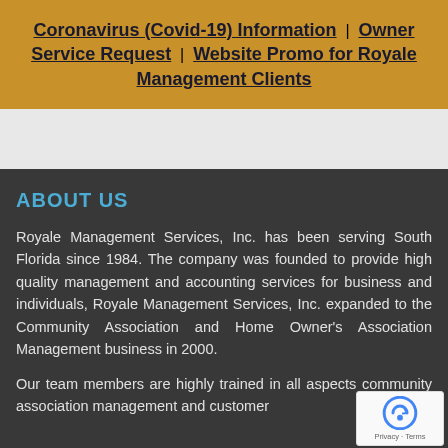Coronavirus (Covid-19) Information | Owner Service Request | Website Promo for Royale Management Clients
ABOUT US
Royale Management Services, Inc. has been serving South Florida since 1984. The company was founded to provide high quality management and accounting services for business and individuals, Royale Management Services, Inc. expanded to the Community Association and Home Owner's Association Management business in 2000.
Our team members are highly trained in all aspects community association management and customer